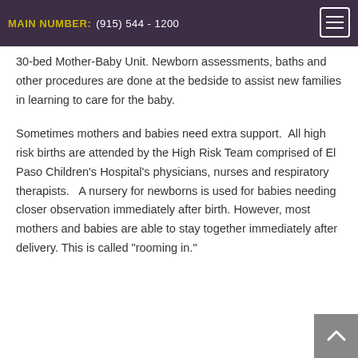MAIN NUMBER: (915) 544 - 1200
30-bed Mother-Baby Unit. Newborn assessments, baths and other procedures are done at the bedside to assist new families in learning to care for the baby.
Sometimes mothers and babies need extra support. All high risk births are attended by the High Risk Team comprised of El Paso Children's Hospital's physicians, nurses and respiratory therapists. A nursery for newborns is used for babies needing closer observation immediately after birth. However, most mothers and babies are able to stay together immediately after delivery. This is called "rooming in."